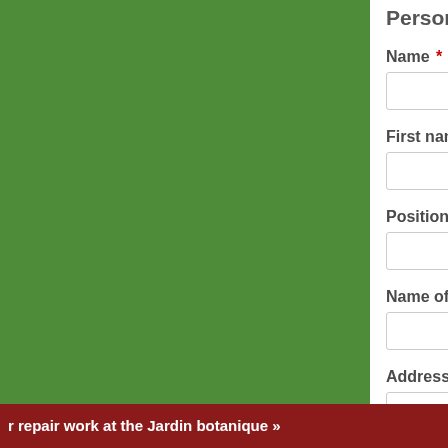Person subm...
Name *
First name *
Position
Name of the organ...
Address
r repair work at the Jardin botanique »